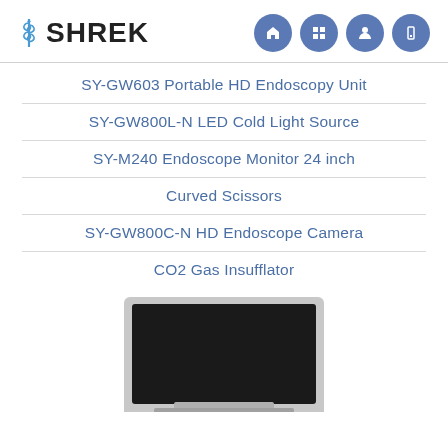[Figure (logo): SHREK medical company logo with caduceus icon on left and four blue circle navigation icons on right]
SY-GW603 Portable HD Endoscopy Unit
SY-GW800L-N LED Cold Light Source
SY-M240 Endoscope Monitor 24 inch
Curved Scissors
SY-GW800C-N HD Endoscope Camera
CO2 Gas Insufflator
[Figure (photo): Photo of a medical endoscope monitor/laptop device with a dark screen, silver/white casing, partially visible at bottom of page]